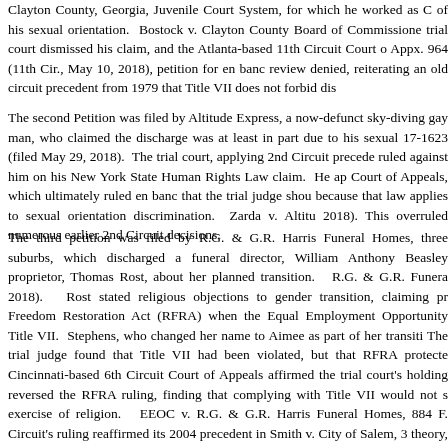Clayton County, Georgia, Juvenile Court System, for which he worked as C of his sexual orientation. Bostock v. Clayton County Board of Commissione trial court dismissed his claim, and the Atlanta-based 11th Circuit Court o Appx. 964 (11th Cir., May 10, 2018), petition for en banc review denied, reiterating an old circuit precedent from 1979 that Title VII does not forbid dis
The second Petition was filed by Altitude Express, a now-defunct sky-diving gay man, who claimed the discharge was at least in part due to his sexual 17-1623 (filed May 29, 2018). The trial court, applying 2nd Circuit precede ruled against him on his New York State Human Rights Law claim. He ap Court of Appeals, which ultimately ruled en banc that the trial judge shou because that law applies to sexual orientation discrimination. Zarda v. Altitu 2018). This overruled numerous earlier 2nd Circuit decisions.
The third petition was filed by R.G. & G.R. Harris Funeral Homes, three suburbs, which discharged a funeral director, William Anthony Beasley proprietor, Thomas Rost, about her planned transition. R.G. & G.R. Funera 2018). Rost stated religious objections to gender transition, claiming pr Freedom Restoration Act (RFRA) when the Equal Employment Opportunity Title VII. Stephens, who changed her name to Aimee as part of her transiti The trial judge found that Title VII had been violated, but that RFRA protecte Cincinnati-based 6th Circuit Court of Appeals affirmed the trial court's holding reversed the RFRA ruling, finding that complying with Title VII would not s exercise of religion. EEOC v. R.G. & G.R. Harris Funeral Homes, 884 F. Circuit's ruling reaffirmed its 2004 precedent in Smith v. City of Salem, 3 theory, but also pushed forward to hold directly that gender identity discrim Title VII.